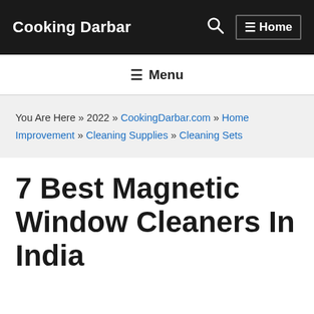Cooking Darbar
Menu
You Are Here » 2022 » CookingDarbar.com » Home Improvement » Cleaning Supplies » Cleaning Sets
7 Best Magnetic Window Cleaners In India